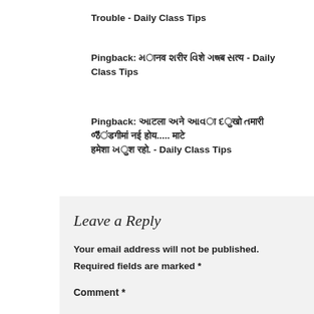Trouble - Daily Class Tips
Pingback: મانવ શરીર વિશે ગજબ સત્ય - Daily Class Tips
Pingback: આટલા અને આવા દુખો તમારી જીંડગીમાં નઈ હોય..... માટે હમેશા ખુश रहो. - Daily Class Tips
Leave a Reply
Your email address will not be published. Required fields are marked *
Comment *